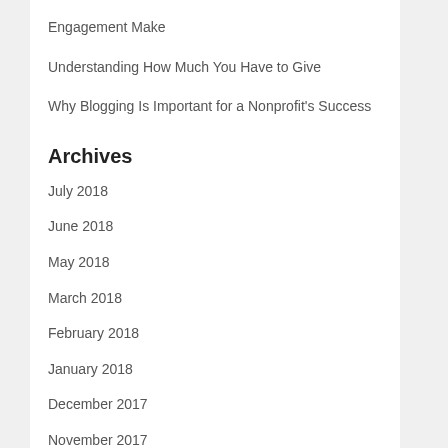Engagement Make
Understanding How Much You Have to Give
Why Blogging Is Important for a Nonprofit's Success
Archives
July 2018
June 2018
May 2018
March 2018
February 2018
January 2018
December 2017
November 2017
August 2017
July 2017